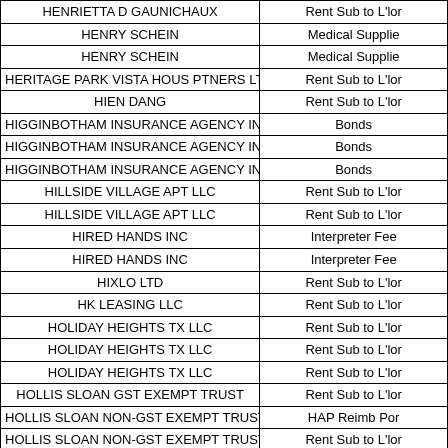| Vendor Name | Category |
| --- | --- |
| HENRIETTA D GAUNICHAUX | Rent Sub to L'lor |
| HENRY SCHEIN | Medical Supplie |
| HENRY SCHEIN | Medical Supplie |
| HERITAGE PARK VISTA HOUS PTNERS LTD | Rent Sub to L'lor |
| HIEN DANG | Rent Sub to L'lor |
| HIGGINBOTHAM INSURANCE AGENCY INC | Bonds |
| HIGGINBOTHAM INSURANCE AGENCY INC | Bonds |
| HIGGINBOTHAM INSURANCE AGENCY INC | Bonds |
| HILLSIDE VILLAGE APT LLC | Rent Sub to L'lor |
| HILLSIDE VILLAGE APT LLC | Rent Sub to L'lor |
| HIRED HANDS INC | Interpreter Fee |
| HIRED HANDS INC | Interpreter Fee |
| HIXLO LTD | Rent Sub to L'lor |
| HK LEASING LLC | Rent Sub to L'lor |
| HOLIDAY HEIGHTS TX LLC | Rent Sub to L'lor |
| HOLIDAY HEIGHTS TX LLC | Rent Sub to L'lor |
| HOLIDAY HEIGHTS TX LLC | Rent Sub to L'lor |
| HOLLIS SLOAN GST EXEMPT TRUST | Rent Sub to L'lor |
| HOLLIS SLOAN NON-GST EXEMPT TRUST | HAP Reimb Por |
| HOLLIS SLOAN NON-GST EXEMPT TRUST | Rent Sub to L'lor |
| HOLLIS SLOAN NON-GST EXEMPT TRUST | Rent Sub to L'lor |
| HOLT CAT | Parts and Suppl |
| HOLT CAT | Parts and Suppl |